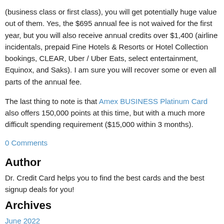(business class or first class), you will get potentially huge value out of them. Yes, the $695 annual fee is not waived for the first year, but you will also receive annual credits over $1,400 (airline incidentals, prepaid Fine Hotels & Resorts or Hotel Collection bookings, CLEAR, Uber / Uber Eats, select entertainment, Equinox, and Saks). I am sure you will recover some or even all parts of the annual fee.
The last thing to note is that Amex BUSINESS Platinum Card also offers 150,000 points at this time, but with a much more difficult spending requirement ($15,000 within 3 months).
0 Comments
Author
Dr. Credit Card helps you to find the best cards and the best signup deals for you!
Archives
June 2022
March 2022